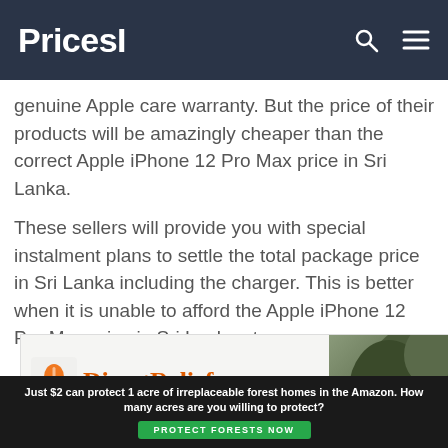PricesI
genuine Apple care warranty. But the price of their products will be amazingly cheaper than the correct Apple iPhone 12 Pro Max price in Sri Lanka.
These sellers will provide you with special instalment plans to settle the total package price in Sri Lanka including the charger. This is better when it is unable to afford the Apple iPhone 12 Pro Max price in Sri Lanka at once.
[Figure (photo): Direct Relief advertisement banner with logo and animal photo, followed by a green bar ad: 'Just $2 can protect 1 acre of irreplaceable forest homes in the Amazon. How many acres are you willing to protect?' with a green 'PROTECT FORESTS NOW' button.]